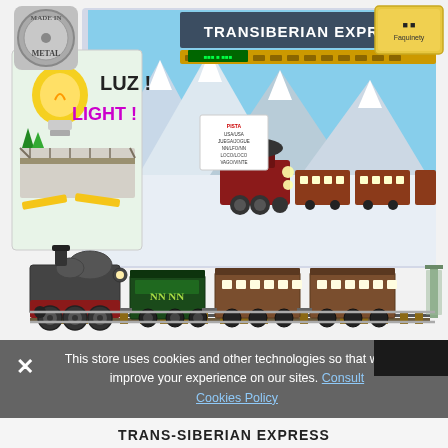[Figure (photo): Product photo of a Transiberian Express toy train set. Shows the box packaging with 'TRANSIBERIAN EXPRESS' text and snowy mountain scene with red steam locomotive and passenger cars. Also shows the actual toy train set displayed outside box: dark steam locomotive with green and red cars on track. Left side shows a metal badge logo, a lightbulb icon with 'LUZ!' and 'LIGHT!' text labels, and a bridge accessory. Top right shows a toy brand logo.]
This store uses cookies and other technologies so that we can improve your experience on our sites. Consult Cookies Policy.
TRANS-SIBERIAN EXPRESS